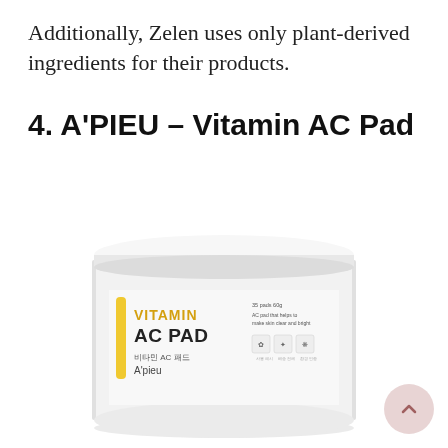Additionally, Zelen uses only plant-derived ingredients for their products.
4. A'PIEU – Vitamin AC Pad
[Figure (photo): A white cylindrical jar of A'pieu Vitamin AC Pad product. The label on the jar shows a yellow vertical stripe, the text 'VITAMIN AC PAD' in bold, Korean text '비타민 AC 패드', and the brand name 'A'pieu'. On the right side of the label there is small text reading '35 pads 60g', 'AC pad that helps to make skin clear and bright', and three small certification/icon badges.]